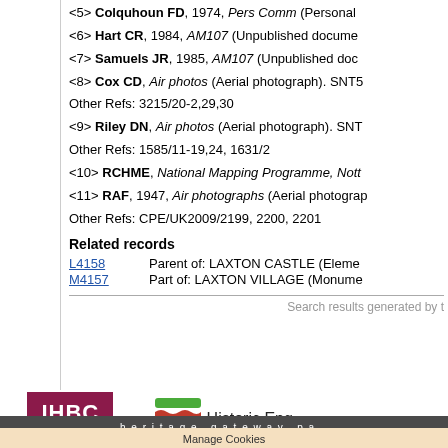<5> Colquhoun FD, 1974, Pers Comm (Personal...
<6> Hart CR, 1984, AM107 (Unpublished document...
<7> Samuels JR, 1985, AM107 (Unpublished doc...
<8> Cox CD, Air photos (Aerial photograph). SNT5...
Other Refs: 3215/20-2,29,30
<9> Riley DN, Air photos (Aerial photograph). SNT...
Other Refs: 1585/11-19,24, 1631/2
<10> RCHME, National Mapping Programme, Nott...
<11> RAF, 1947, Air photographs (Aerial photograph...
Other Refs: CPE/UK2009/2199, 2200, 2201
Related records
L4158    Parent of: LAXTON CASTLE (Element...
M4157    Part of: LAXTON VILLAGE (Monument...
Search results generated by t...
[Figure (logo): IHBC Institute of Historic Building Conservation logo]
[Figure (logo): Historic England logo with colored wave stripes]
heritage gateway pa...
Manage Cookies